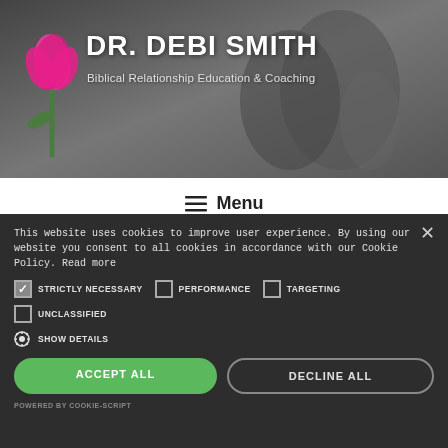[Figure (photo): Grayscale background photo of people sitting, with a pink tulip illustration in the foreground. Header area of a website for Dr. Debi Smith.]
DR. DEBI SMITH
Biblical Relationship Education & Coaching
≡ Menu
This website uses cookies to improve user experience. By using our website you consent to all cookies in accordance with our Cookie Policy. Read more
STRICTLY NECESSARY
PERFORMANCE
TARGETING
UNCLASSIFIED
SHOW DETAILS
ACCEPT ALL
DECLINE ALL
POWERED BY COOKIE-SCRIPT